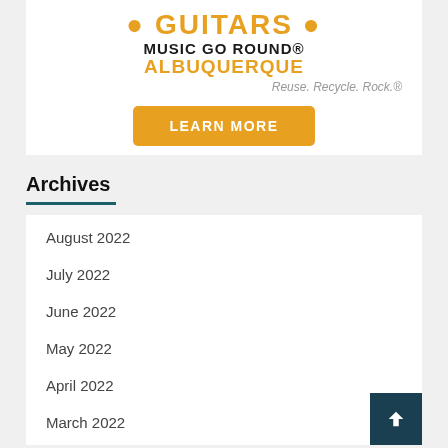[Figure (other): Music Go Round Albuquerque advertisement with orange logo text, tagline 'Reuse. Recycle. Rock.' and a Learn More button]
Archives
August 2022
July 2022
June 2022
May 2022
April 2022
March 2022